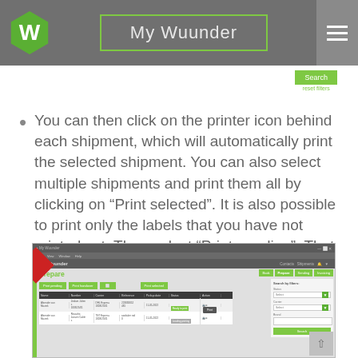My Wuunder
You can then click on the printer icon behind each shipment, which will automatically print the selected shipment. You can also select multiple shipments and print them all by clicking on “Print selected”. It is also possible to print only the labels that you have not printed yet. Then select “Print pending”. That saves time!
[Figure (screenshot): Screenshot of My Wuunder application showing the Prepare screen with Print pending, Print handover, and Print selected buttons, a table listing shipments with status Ready to print and Loading printing, and a Search by filters panel on the right with a Print tooltip visible.]